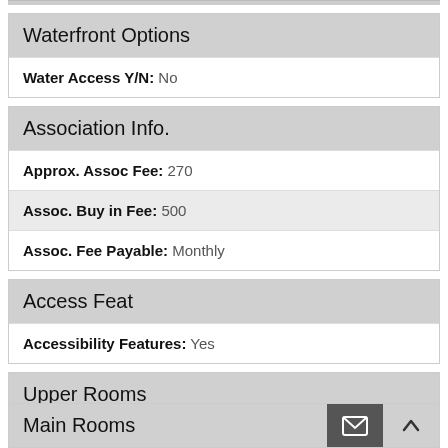Waterfront Options
Water Access Y/N: No
Association Info.
Approx. Assoc Fee: 270
Assoc. Buy in Fee: 500
Assoc. Fee Payable: Monthly
Access Feat
Accessibility Features: Yes
Upper Rooms
Total Baths Above Grade: 2
Main Rooms